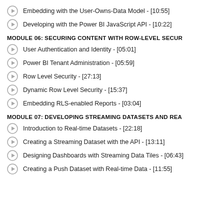Embedding with the User-Owns-Data Model - [10:55]
Developing with the Power BI JavaScript API - [10:22]
MODULE 06: SECURING CONTENT WITH ROW-LEVEL SECURITY
User Authentication and Identity - [05:01]
Power BI Tenant Administration - [05:59]
Row Level Security - [27:13]
Dynamic Row Level Security - [15:37]
Embedding RLS-enabled Reports - [03:04]
MODULE 07: DEVELOPING STREAMING DATASETS AND REAL-TIME DASHBOARDS
Introduction to Real-time Datasets - [22:18]
Creating a Streaming Dataset with the API - [13:11]
Designing Dashboards with Streaming Data Tiles - [06:43]
Creating a Push Dataset with Real-time Data - [11:55]